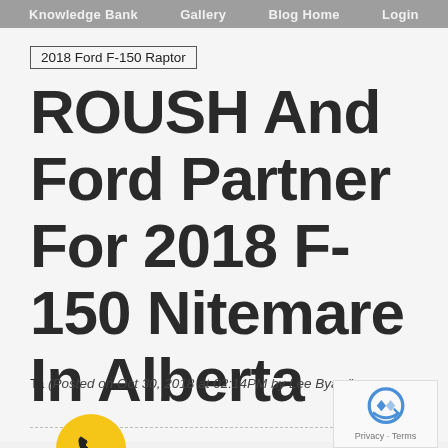Knowledge Bank   Gallery   Blog Home   Login
2018 Ford F-150 Raptor
ROUSH And Ford Partner For 2018 F-150 Nitemare In Alberta
Tags (Posted on Oct 30, 2018 at 02:14PM by Lee Byard)